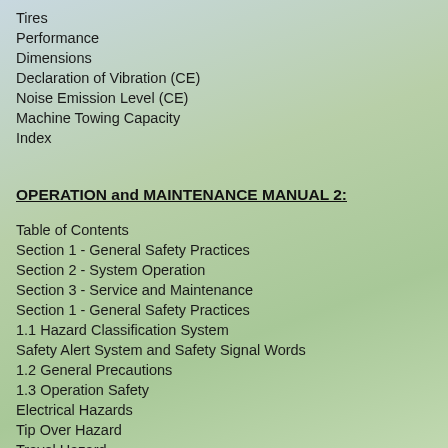Tires
Performance
Dimensions
Declaration of Vibration (CE)
Noise Emission Level (CE)
Machine Towing Capacity
Index
OPERATION and MAINTENANCE MANUAL 2:
Table of Contents
Section 1 - General Safety Practices
Section 2 - System Operation
Section 3 - Service and Maintenance
Section 1 - General Safety Practices
1.1 Hazard Classification System
Safety Alert System and Safety Signal Words
1.2 General Precautions
1.3 Operation Safety
Electrical Hazards
Tip Over Hazard
Travel Hazard
Load Falling Hazard
Lifting Personnel
Driving Hazards on Slopes
Pinch Points and Crush Hazards
Fall Hazard